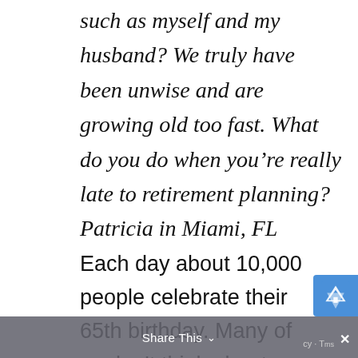such as myself and my husband? We truly have been unwise and are growing old too fast. What do you do when you're really late to retirement planning? Patricia in Miami, FL
Each day about 10,000 people celebrate their 65th birthday. Many of us don't think about how we're going to finance our retirement until
Share This